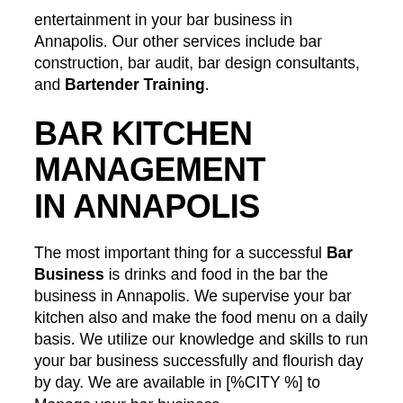entertainment in your bar business in Annapolis. Our other services include bar construction, bar audit, bar design consultants, and Bartender Training.
BAR KITCHEN MANAGEMENT IN ANNAPOLIS
The most important thing for a successful Bar Business is drinks and food in the bar the business in Annapolis. We supervise your bar kitchen also and make the food menu on a daily basis. We utilize our knowledge and skills to run your bar business successfully and flourish day by day. We are available in [%CITY %] to Manage your bar business.